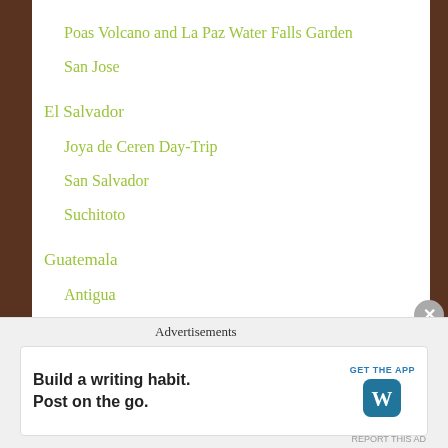Poas Volcano and La Paz Water Falls Garden
San Jose
El Salvador
Joya de Ceren Day-Trip
San Salvador
Suchitoto
Guatemala
Antigua
Chichicastenango and Lake Atitlan
Advertisements
Build a writing habit. Post on the go. GET THE APP